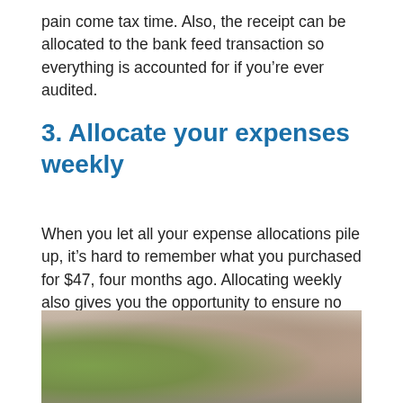pain come tax time. Also, the receipt can be allocated to the bank feed transaction so everything is accounted for if you’re ever audited.
3. Allocate your expenses weekly
When you let all your expense allocations pile up, it’s hard to remember what you purchased for $47, four months ago. Allocating weekly also gives you the opportunity to ensure no double payments are coming out of your account, and will reduce your stress levels come tax time.
[Figure (photo): Photo of a woman, partially visible, against a softly lit background with a plant visible on the left side.]